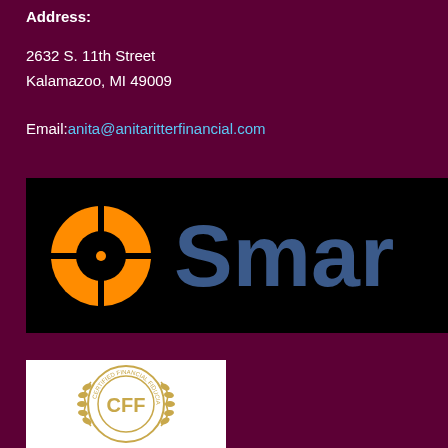Address:
2632 S. 11th Street
Kalamazoo, MI 49009
Email: anita@anitaritterfinancial.com
[Figure (logo): SmartVestor logo on black background with orange circle icon divided into quadrants and blue 'Smar' text visible]
[Figure (logo): Certified Financial Fiduciary (CFF) circular seal badge in gold color]